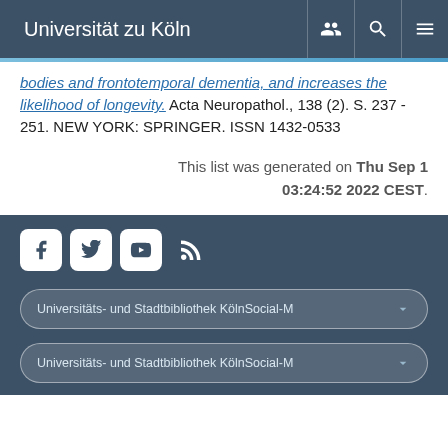Universität zu Köln
bodies and frontotemporal dementia, and increases the likelihood of longevity. Acta Neuropathol., 138 (2). S. 237 - 251. NEW YORK: SPRINGER. ISSN 1432-0533
This list was generated on Thu Sep 1 03:24:52 2022 CEST.
[Figure (other): Social media icons: Facebook, Twitter, YouTube, RSS feed]
Universitäts- und Stadtbibliothek KölnSocial-M
Universitäts- und Stadtbibliothek KölnSocial-M